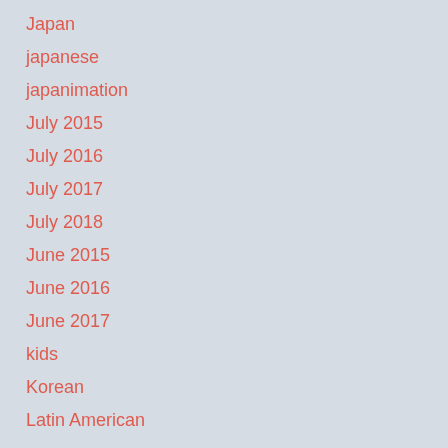Japan
japanese
japanimation
July 2015
July 2016
July 2017
July 2018
June 2015
June 2016
June 2017
kids
Korean
Latin American